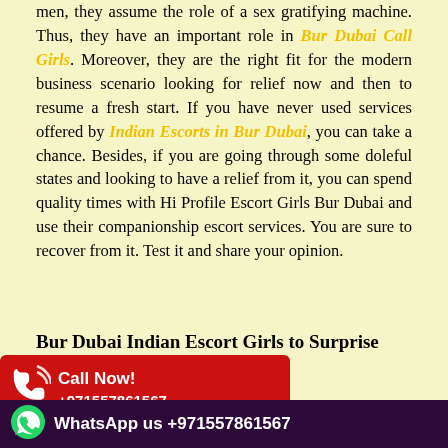men, they assume the role of a sex gratifying machine. Thus, they have an important role in Bur Dubai Call Girls. Moreover, they are the right fit for the modern business scenario looking for relief now and then to resume a fresh start. If you have never used services offered by Indian Escorts in Bur Dubai, you can take a chance. Besides, if you are going through some doleful states and looking to have a relief from it, you can spend quality times with Hi Profile Escort Girls Bur Dubai and use their companionship escort services. You are sure to recover from it. Test it and share your opinion.
Bur Dubai Indian Escort Girls to Surprise You at Night
[Figure (infographic): Red call now banner with phone icon showing Call Now! +971557861567]
1567  If you have fixed an appointment with Bur Dubai Indian Escort Girls then never make a mistake to arrive on time. Many escorts before a session. If you are on time then maybe you are pushing your call
[Figure (infographic): WhatsApp footer bar: WhatsApp us +971557861567]